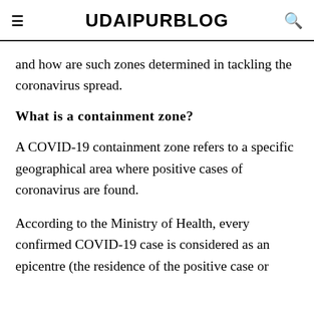UDAIPURBLOG
and how are such zones determined in tackling the coronavirus spread.
What is a containment zone?
A COVID-19 containment zone refers to a specific geographical area where positive cases of coronavirus are found.
According to the Ministry of Health, every confirmed COVID-19 case is considered as an epicentre (the residence of the positive case or